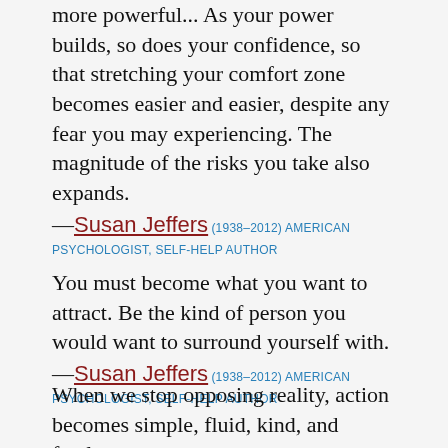more powerful... As your power builds, so does your confidence, so that stretching your comfort zone becomes easier and easier, despite any fear you may experiencing. The magnitude of the risks you take also expands.
—Susan Jeffers (1938–2012) AMERICAN PSYCHOLOGIST, SELF-HELP AUTHOR
You must become what you want to attract. Be the kind of person you would want to surround yourself with.
—Susan Jeffers (1938–2012) AMERICAN PSYCHOLOGIST, SELF-HELP AUTHOR
When we stop opposing reality, action becomes simple, fluid, kind, and fearless